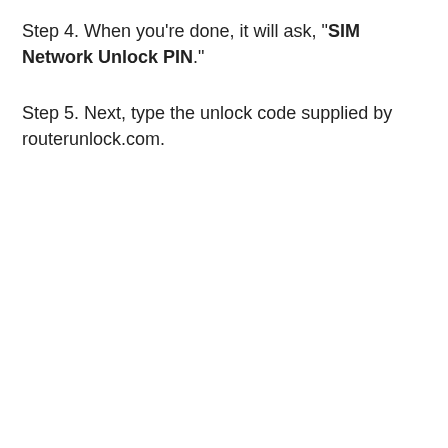Step 4. When you're done, it will ask, "SIM Network Unlock PIN."
Step 5. Next, type the unlock code supplied by routerunlock.com.